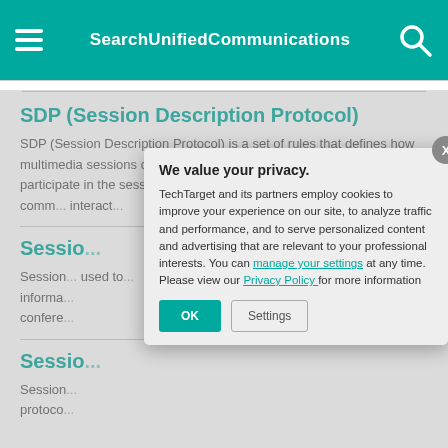SearchUnifiedCommunications
SDP (Session Description Protocol)
SDP (Session Description Protocol) is a set of rules that defines how multimedia sessions can be set up to allow all end points to effectively participate in the session. In this context, a session consists of a set of comm... interact...
Sessio...
Session... used to... informa... confere...
Sessio...
Session... protoco...
[Figure (screenshot): Cookie consent dialog box with heading 'We value your privacy.' and text about TechTarget and partners using cookies. Contains a link 'manage your settings' and 'Privacy Policy', with OK and Settings buttons. An X close button appears in top right corner.]